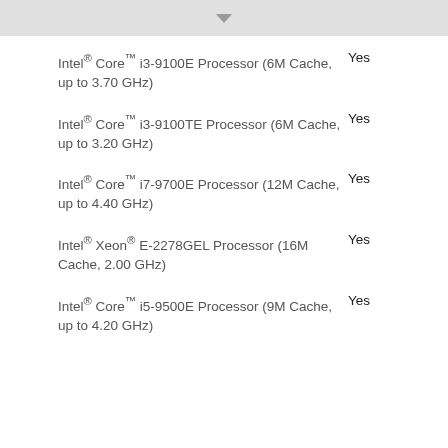▾
Intel® Core™ i3-9100E Processor (6M Cache, up to 3.70 GHz)   Yes
Intel® Core™ i3-9100TE Processor (6M Cache, up to 3.20 GHz)   Yes
Intel® Core™ i7-9700E Processor (12M Cache, up to 4.40 GHz)   Yes
Intel® Xeon® E-2278GEL Processor (16M Cache, 2.00 GHz)   Yes
Intel® Core™ i5-9500E Processor (9M Cache, up to 4.20 GHz)   Yes